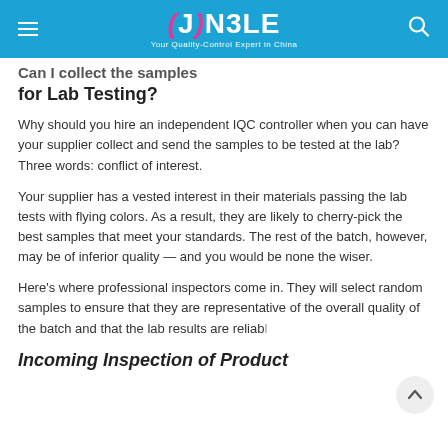JONBLE — Your Quality-Control Expert in China
Can I collect the samples for Lab Testing?
Why should you hire an independent IQC controller when you can have your supplier collect and send the samples to be tested at the lab? Three words: conflict of interest.
Your supplier has a vested interest in their materials passing the lab tests with flying colors. As a result, they are likely to cherry-pick the best samples that meet your standards. The rest of the batch, however, may be of inferior quality — and you would be none the wiser.
Here's where professional inspectors come in. They will select random samples to ensure that they are representative of the overall quality of the batch and that the lab results are reliable.
Incoming Inspection of Product